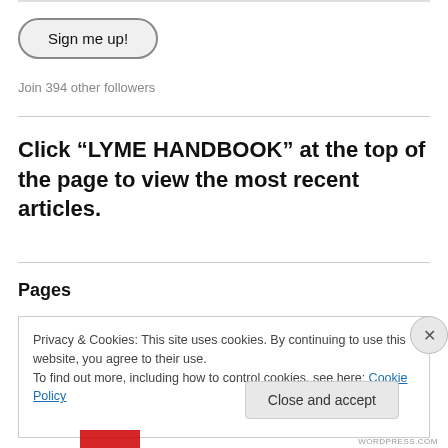[Figure (screenshot): Sign me up! button with rounded pill shape border]
Join 394 other followers
Click “LYME HANDBOOK” at the top of the page to view the most recent articles.
Pages
Privacy & Cookies: This site uses cookies. By continuing to use this website, you agree to their use.
To find out more, including how to control cookies, see here: Cookie Policy
Close and accept